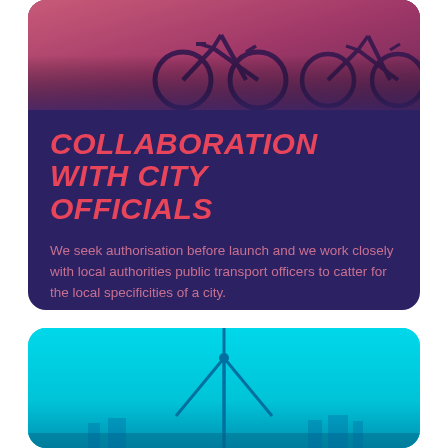[Figure (photo): Bicycle photo with purple/pink color overlay at top of card]
COLLABORATION WITH CITY OFFICIALS
We seek authorisation before launch and we work closely with local authorities public transport officers to catter for the local specificities of a city.
[Figure (photo): Wind turbine photo with cyan/turquoise color overlay]